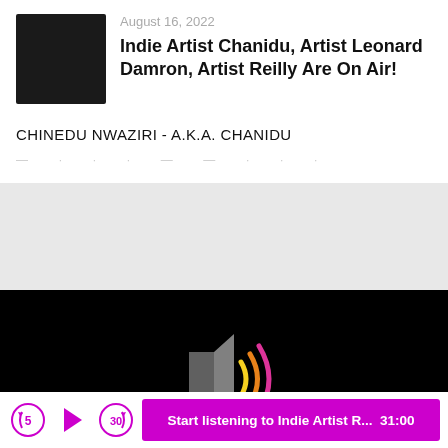[Figure (photo): Dark square thumbnail image, nearly black, for a podcast episode]
August 16, 2022
Indie Artist Chanidu, Artist Leonard Damron, Artist Reilly Are On Air!
CHINEDU NWAZIRI - A.K.A. CHANIDU
— · · · — — · · ·
[Figure (illustration): Speaker/sound icon with colorful sound waves (yellow, orange, pink) on black background representing a podcast player]
[Figure (infographic): Podcast player controls bar with skip-back 5s button, play button, skip-forward 30s button, and a magenta 'Start listening to Indie Artist R... 31:00' button]